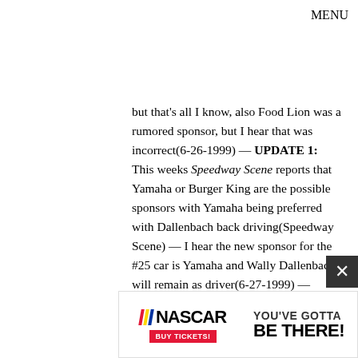MENU
but that’s all I know, also Food Lion was a rumored sponsor, but I hear that was incorrect(6-26-1999) — UPDATE 1: This weeks Speedway Scene reports that Yamaha or Burger King are the possible sponsors with Yamaha being preferred with Dallenbach back driving(Speedway Scene) — I hear the new sponsor for the #25 car is Yamaha and Wally Dallenbach will remain as driver(6-27-1999) — UPDATE 2: Radio Shack may be the next new Winston Cup tour sponsor, according to NASCAR sources, and Rick Hendrick may be the guy signing the deal(PitNow)(7-3-1999)
#28 News: hmmm… a few sites are carrying
[Figure (infographic): NASCAR advertisement banner: NASCAR logo with racing stripes, BUY TICKETS! button in red, and text YOU'VE GOTTA BE THERE!]